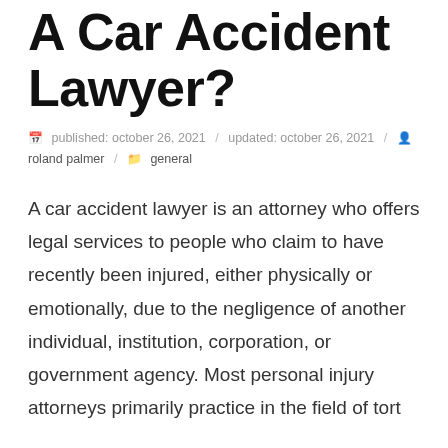A Car Accident Lawyer?
published: october 26, 2021 / updated: october 26, 2021 / roland palmer / general
A car accident lawyer is an attorney who offers legal services to people who claim to have recently been injured, either physically or emotionally, due to the negligence of another individual, institution, corporation, or government agency. Most personal injury attorneys primarily practice in the field of tort